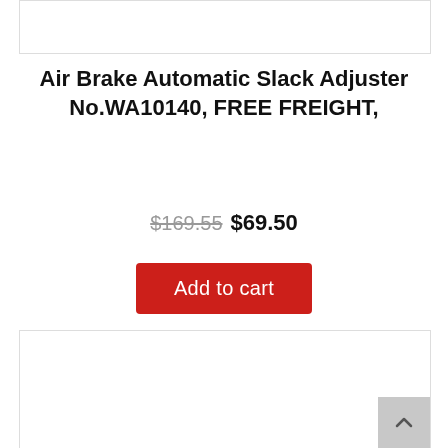[Figure (other): Top product image placeholder box with border]
Air Brake Automatic Slack Adjuster No.WA10140, FREE FREIGHT,
$169.55 $69.50
Add to cart
[Figure (other): Bottom product image placeholder box with border]